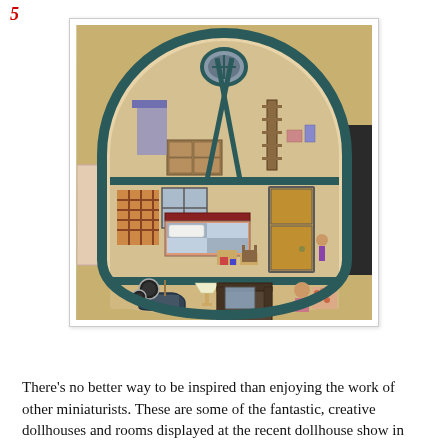5
[Figure (photo): A boat-shaped dollhouse with three levels/floors filled with miniature furniture and rooms, photographed at a dollhouse show. The boat-shaped wooden frame is dark teal/green and contains bedroom, living room, and other miniature room scenes with tiny furniture, dolls, and decorations.]
There's no better way to be inspired than enjoying the work of other miniaturists. These are some of the fantastic, creative dollhouses and rooms displayed at the recent dollhouse show in